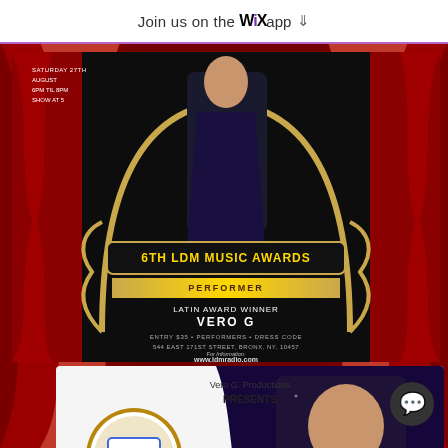Join us on the WiX app ↓
[Figure (photo): 6TH LDM MUSIC AWARDS event flyer. Dark background with gold ornamental design. Shows a female performer. Text reads: SATURDAY 27TH AUGUST 6PM TIL 8PM SHOW AT 5. 6TH LDM MUSIC AWARDS PERFORMER LATIN AWARD WINNER VERO G ENTRY $35 • PERFORMERS • DRESS CODE 544 EAST 171ST STREET, BRONX, NY, 10457 For Information: www.ldmradio.com]
[Figure (photo): Vero G. Productions PRESENTS promotional card. White and dark purple background with gold logo circle. Shows photo of Vero G (woman with long dark hair). Script text reads: Healing Your Soul Sundays With Host Vero G.]